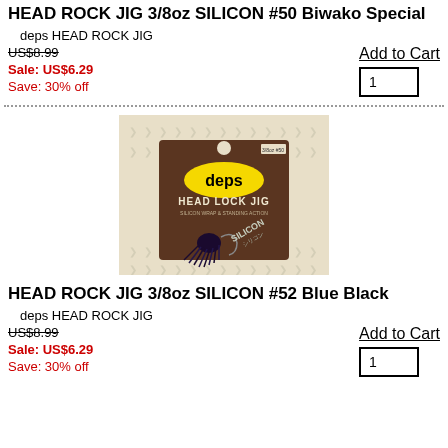HEAD ROCK JIG 3/8oz SILICON #50 Biwako Special
deps HEAD ROCK JIG
US$8.99
Sale: US$6.29
Save: 30% off
Add to Cart
1
[Figure (photo): Photo of deps HEAD LOCK JIG SILICON product in retail packaging. The package shows the deps logo in yellow on dark brown background, with a black/blue jig lure visible. Text on package reads 'SILICON' in English and Japanese.]
HEAD ROCK JIG 3/8oz SILICON #52 Blue Black
deps HEAD ROCK JIG
US$8.99
Sale: US$6.29
Save: 30% off
Add to Cart
1